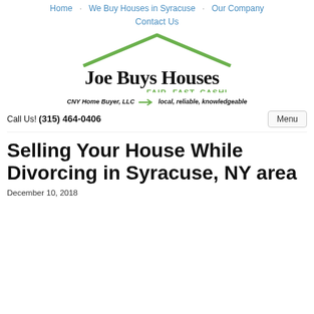Home  We Buy Houses in Syracuse  Our Company
Contact Us
[Figure (logo): Joe Buys Houses logo with green roof/chevron shape above text 'Joe Buys Houses' in handwritten black font, with 'FAIR, FAST, CASH!' in green below. Tagline: CNY Home Buyer, LLC → local, reliable, knowledgeable]
Call Us! (315) 464-0406    Menu
Selling Your House While Divorcing in Syracuse, NY area
December 10, 2018